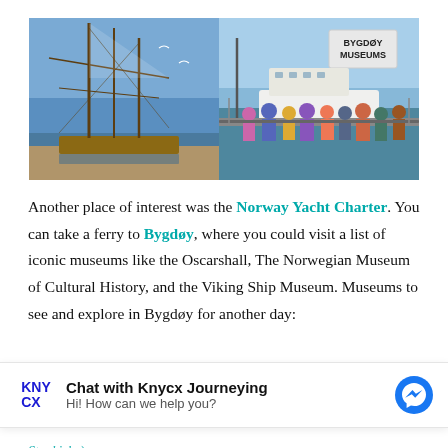[Figure (photo): Two side-by-side harbor photos: left shows tall sailing ship masts at a dock on a sunny day; right shows a crowd of tourists at a ferry dock with a 'Bygdøy Museums' sign visible and a white ferry boat in the background.]
Another place of interest was the Norway Yacht Charter. You can take a ferry to Bygdøy, where you could visit a list of iconic museums like the Oscarshall, The Norwegian Museum of Cultural History, and the Viking Ship Museum. Museums to see and explore in Bygdøy for another day:
Chat with Knycx Journeying
Hi! How can we help you?
Stavkirke)